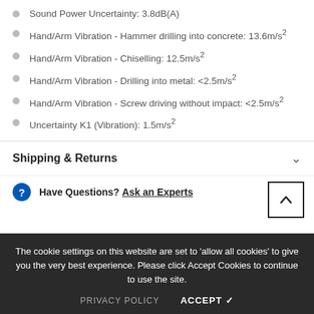Sound Power Uncertainty: 3.8dB(A)
Hand/Arm Vibration - Hammer drilling into concrete: 13.6m/s²
Hand/Arm Vibration - Chiselling: 12.5m/s²
Hand/Arm Vibration - Drilling into metal: <2.5m/s²
Hand/Arm Vibration - Screw driving without impact: <2.5m/s²
Uncertainty K1 (Vibration): 1.5m/s²
Shipping & Returns
Have Questions? Ask an Experts
The cookie settings on this website are set to 'allow all cookies' to give you the very best experience. Please click Accept Cookies to continue to use the site.
PRIVACY POLICY   ACCEPT ✔